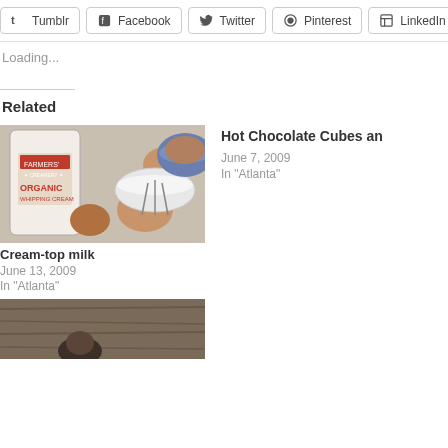Tumblr | Facebook | Twitter | Pinterest | LinkedIn | Email
Loading...
Related
[Figure (photo): Photo of Farmers' Creamery Organic whipping cream bottle with eggs and a bowl with a whisk]
Cream-top milk
June 13, 2009
In "Atlanta"
Hot Chocolate Cubes an
June 7, 2009
In "Atlanta"
[Figure (photo): Partially visible photo at the bottom of the page showing a person outdoors]